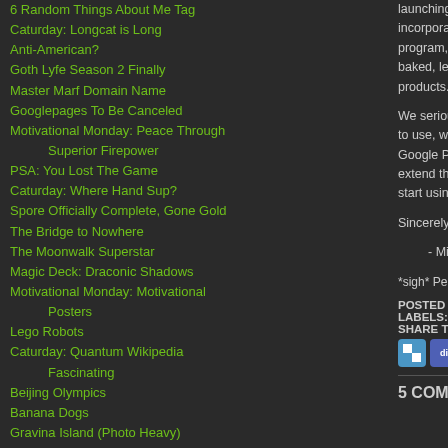6 Random Things About Me Tag
Caturday: Longcat is Long
Anti-American?
Goth Lyfe Season 2 Finally
Master Marf Domain Name
Googlepages To Be Canceled
Motivational Monday: Peace Through Superior Firepower
PSA: You Lost The Game
Caturday: Where Hand Sup?
Spore Officially Complete, Gone Gold
The Bridge to Nowhere
The Moonwalk Superstar
Magic Deck: Draconic Shadows
Motivational Monday: Motivational Posters
Lego Robots
Caturday: Quantum Wikipedia Fascinating
Beijing Olympics
Banana Dogs
Gravina Island (Photo Heavy)
Crappy Blog Post
Motivational Monday: Progress
launching Page Crea incorporated those l program, which allow baked, lets us innova products.
We seriously thank e to use, write about, o Google Page Creato extend the great thin start using the servic
Sincerely,
- Mike and the
*sigh* Perhaps this will fina
POSTED BY MARF AT 2:01 AM
LABELS: BLOG UPGRADES, B
SHARE THIS POST ON:
5 COMMENTS: